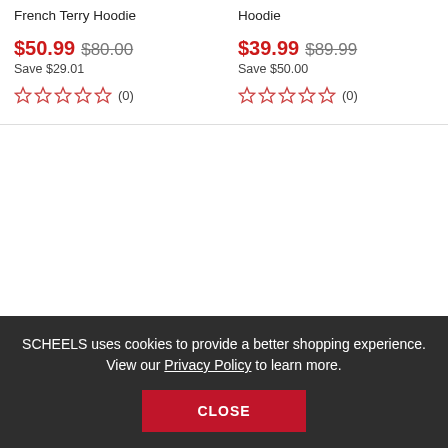French Terry Hoodie
$50.99  $80.00
Save $29.01
★★★★★ (0)
Hoodie
$39.99  $89.99
Save $50.00
★★★★★ (0)
SCHEELS uses cookies to provide a better shopping experience. View our Privacy Policy to learn more.
CLOSE